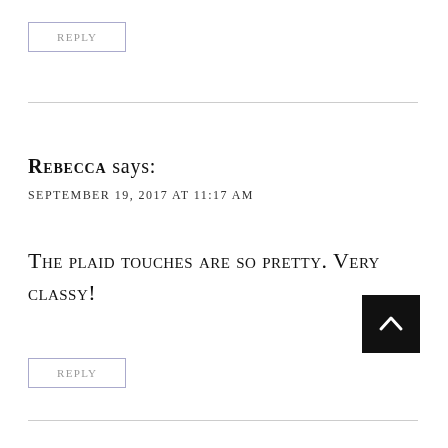REPLY
Rebecca says:
September 19, 2017 at 11:17 AM
The plaid touches are so pretty. Very classy!
REPLY